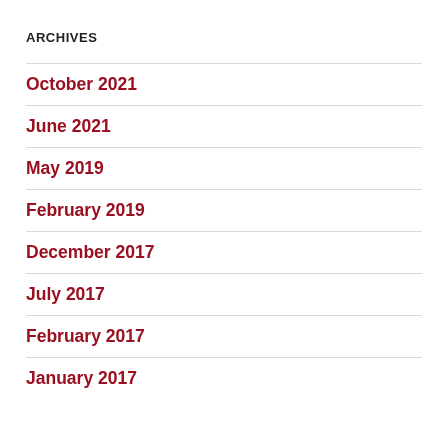ARCHIVES
October 2021
June 2021
May 2019
February 2019
December 2017
July 2017
February 2017
January 2017